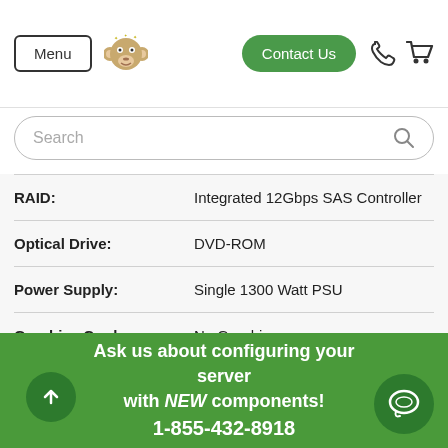[Figure (screenshot): Website navigation bar with Menu button, monkey logo, Contact Us button, phone icon, and cart icon]
[Figure (screenshot): Search bar with placeholder text 'Search' and magnifying glass icon]
| Specification | Value |
| --- | --- |
| RAID: | Integrated 12Gbps SAS Controller |
| Optical Drive: | DVD-ROM |
| Power Supply: | Single 1300 Watt PSU |
| Graphics Card: | No Graphics |
| Operating System: | No Operating System |
Ask us about configuring your server with NEW components! 1-855-432-8918